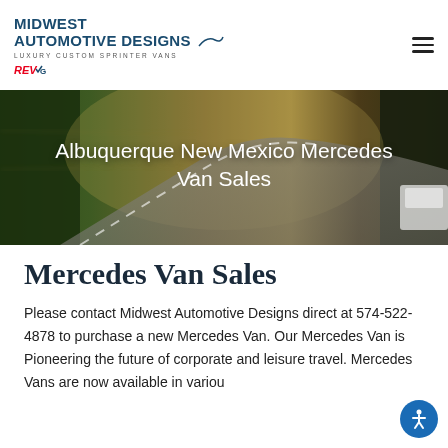MIDWEST AUTOMOTIVE DESIGNS — LUXURY CUSTOM SPRINTER VANS — REV GROUP
[Figure (photo): Hero banner showing a winding road through a forested area with motion blur effect, white van partially visible on the right side]
Albuquerque New Mexico Mercedes Van Sales
Mercedes Van Sales
Please contact Midwest Automotive Designs direct at 574-522-4878 to purchase a new Mercedes Van. Our Mercedes Van is Pioneering the future of corporate and leisure travel. Mercedes Vans are now available in various